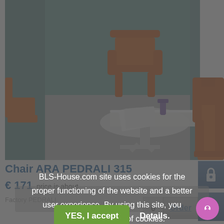[Figure (photo): Product photo of orange ARA PEDRALI 315 chairs around a white table in a blue-teal room]
Chair ARA PEDRALI 315
€ 171  price is about
Factory PEDRALI
BLS-House.com site uses cookies for the proper functioning of the website and a better user experience. By using this site, you consent to the use of cookies.
YES, I accept   Details.